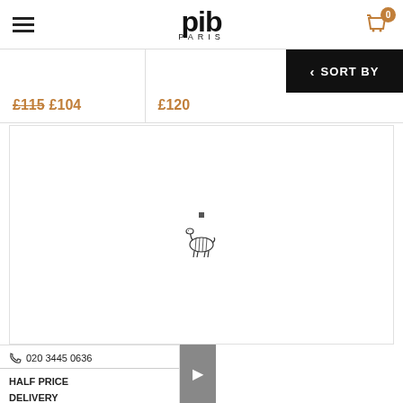pib PARIS
£115 £104
£120
SORT BY
[Figure (illustration): Loading spinner with small zebra logo illustration in center of blank product card area]
020 3445 0636
HALF PRICE DELIVERY